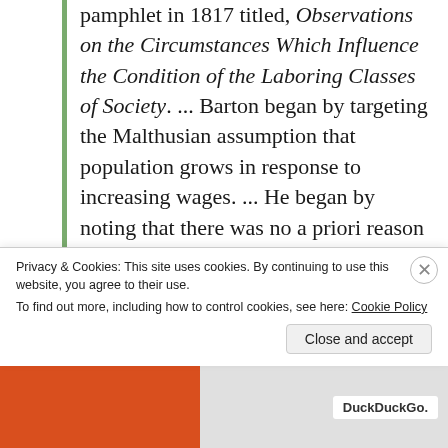pamphlet in 1817 titled, Observations on the Circumstances Which Influence the Condition of the Laboring Classes of Society. ... Barton began by targeting the Malthusian assumption that population grows in response to increasing wages. ... He began by noting that there was no a priori reason to believe that labor and capital were perfect complements, as classical economists implicitly assumed. The more sensible assumption was that, as
Privacy & Cookies: This site uses cookies. By continuing to use this website, you agree to their use.
To find out more, including how to control cookies, see here: Cookie Policy
Close and accept